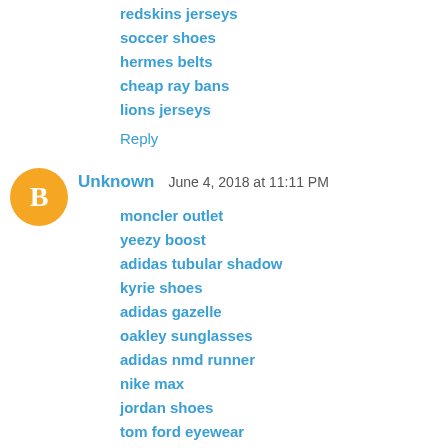redskins jerseys
soccer shoes
hermes belts
cheap ray bans
lions jerseys
Reply
[Figure (illustration): Blogger user avatar - orange circle with white B logo]
Unknown   June 4, 2018 at 11:11 PM
moncler outlet
yeezy boost
adidas tubular shadow
kyrie shoes
adidas gazelle
oakley sunglasses
adidas nmd runner
nike max
jordan shoes
tom ford eyewear
Reply